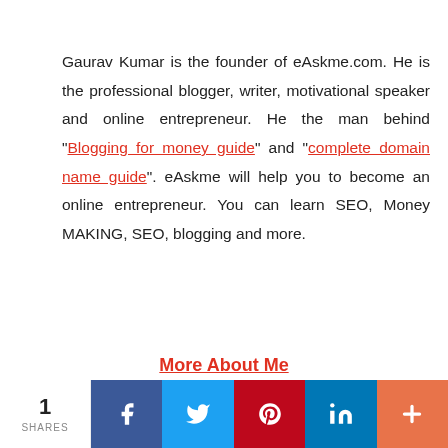Gaurav Kumar is the founder of eAskme.com. He is the professional blogger, writer, motivational speaker and online entrepreneur. He the man behind "Blogging for money guide" and "complete domain name guide". eAskme will help you to become an online entrepreneur. You can learn SEO, Money MAKING, SEO, blogging and more.
More About Me
1 SHARES | Facebook | Twitter | Pinterest | LinkedIn | +